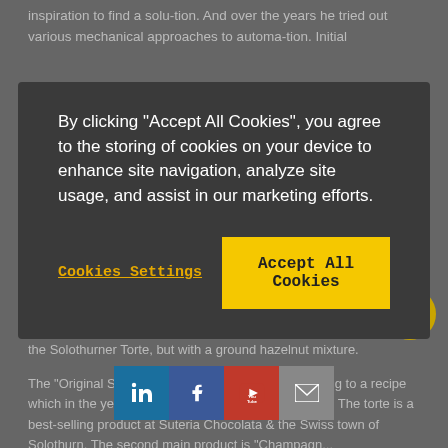inspiration to find a solu-tion. And over the years he tried out various mechanical approaches to automa-tion. Initial
[Figure (screenshot): Cookie consent dialog box with dark background. Text reads: By clicking "Accept All Cookies", you agree to the storing of cookies on your device to enhance site navigation, analyze site usage, and assist in our marketing efforts. Two buttons: 'Cookies Settings' (yellow underlined text) and 'Accept All Cookies' (yellow button).]
for use in the bakery: it successfully completed the task, and from that point on, it was enlisted to decorate the Japonais filling – like the Solothurner Torte, but with a ground hazelnut mixture.
The "Original Solothurner Torte" is produced according to a recipe which in the year 2015 will be one hundred years old. The torte is a best-selling product at Suteria Chocolata in the Swiss town of Solothurn. The second main product is "Champagn... specialities, the company ga... 2010 Swiss Bakery
[Figure (infographic): Social media icons bar at the bottom showing LinkedIn, Facebook, YouTube, and email icons in their respective brand colors.]